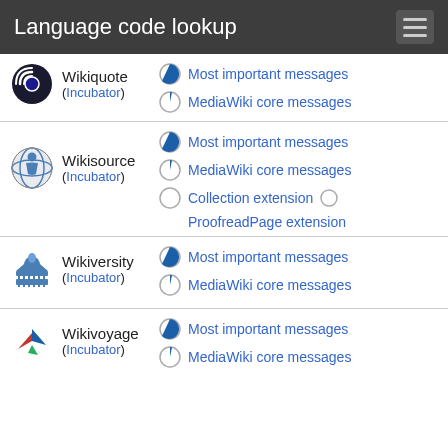Language code lookup
Wikiquote (Incubator) — Most important messages, MediaWiki core messages
Wikisource (Incubator) — Most important messages, MediaWiki core messages, Collection extension, ProofreadPage extension
Wikiversity (Incubator) — Most important messages, MediaWiki core messages
Wikivoyage (Incubator) — Most important messages, MediaWiki core messages